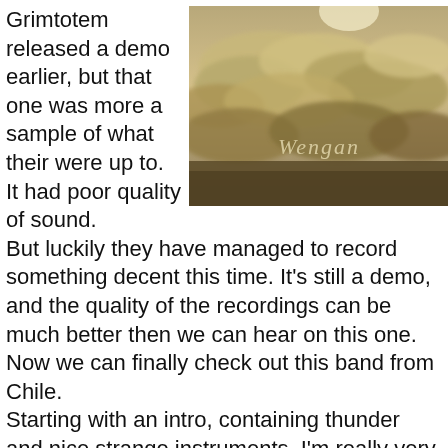Grimtotem released a demo earlier, but that one was more a sample of what their were up to. It had poor quality of sound. But luckily they have managed to record something decent this time. It's still a demo, and the quality of the recordings can be much better then we can hear on this one. Now we can finally check out this band from Chile.
[Figure (photo): Album cover art showing dramatic clouds with a moon, with stylized text reading 'Wengan' in the lower center area. Sepia/yellowish toned photograph.]
Starting with an intro, containing thunder and nice strange instruments, I'm really very anxious to hear more of this album, because this intro is very original. The second song Battle Of The Centuries is a song we already know, but the improvement of quality is so big